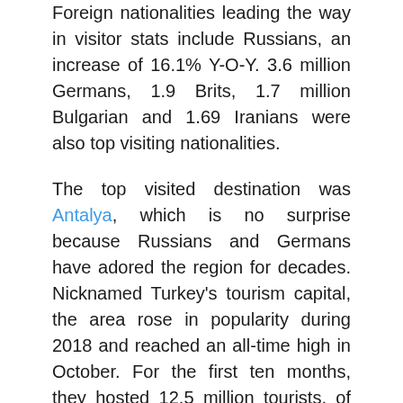Foreign nationalities leading the way in visitor stats include Russians, an increase of 16.1% Y-O-Y. 3.6 million Germans, 1.9 Brits, 1.7 million Bulgarian and 1.69 Iranians were also top visiting nationalities.
The top visited destination was Antalya, which is no surprise because Russians and Germans have adored the region for decades. Nicknamed Turkey's tourism capital, the area rose in popularity during 2018 and reached an all-time high in October. For the first ten months, they hosted 12.5 million tourists, of which 4.6 million were Russians.
In 2015 and 2016, Antalya's travel industry suffered when security fears rocked the travel industry all